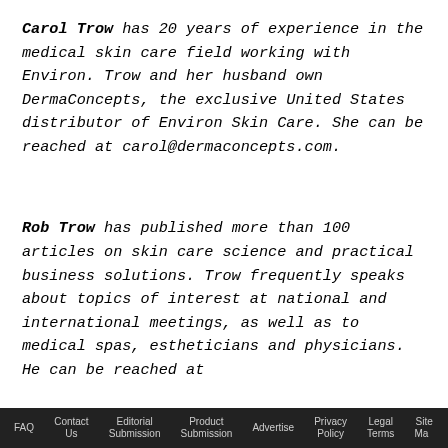Carol Trow has 20 years of experience in the medical skin care field working with Environ. Trow and her husband own DermaConcepts, the exclusive United States distributor of Environ Skin Care. She can be reached at carol@dermaconcepts.com.
Rob Trow has published more than 100 articles on skin care science and practical business solutions. Trow frequently speaks about topics of interest at national and international meetings, as well as to medical spas, estheticians and physicians. He can be reached at
FAQ   Contact Us   Editorial Submission   Product Submission   Advertise   Privacy Policy   Legal Terms   Site Map